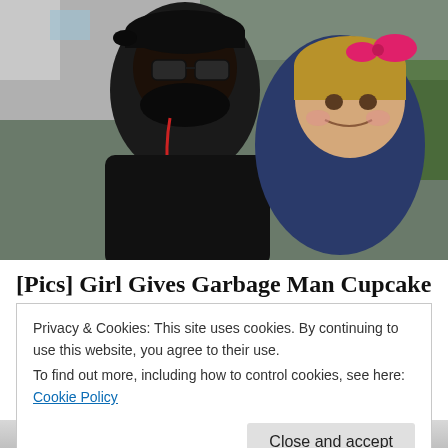[Figure (photo): A smiling man wearing a black cap and sunglasses with red headphones around his neck posing with a young girl with a pink bow in her hair. They appear to be outdoors near a vehicle.]
[Pics] Girl Gives Garbage Man Cupcake
Privacy & Cookies: This site uses cookies. By continuing to use this website, you agree to their use.
To find out more, including how to control cookies, see here: Cookie Policy
Close and accept